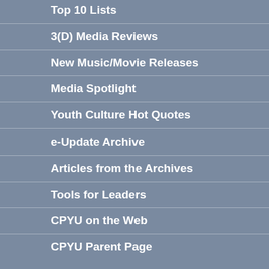Top 10 Lists
3(D) Media Reviews
New Music/Movie Releases
Media Spotlight
Youth Culture Hot Quotes
e-Update Archive
Articles from the Archives
Tools for Leaders
CPYU on the Web
CPYU Parent Page